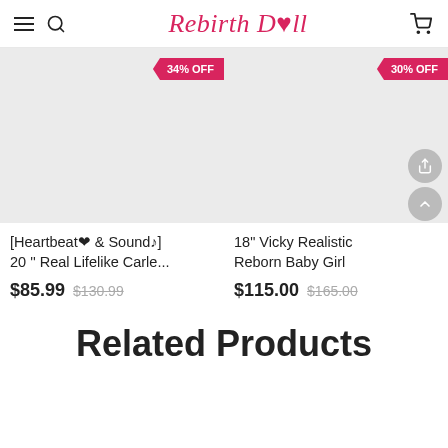Rebirth Doll
[Figure (photo): Product image placeholder for Heartbeat & Sound 20'' Real Lifelike Carle... with 34% OFF badge]
[Heartbeat❤ & Sound♪] 20 '' Real Lifelike Carle...
$85.99  $130.99
[Figure (photo): Product image placeholder for 18" Vicky Realistic Reborn Baby Girl with 30% OFF badge]
18" Vicky Realistic Reborn Baby Girl
$115.00  $165.00
Related Products